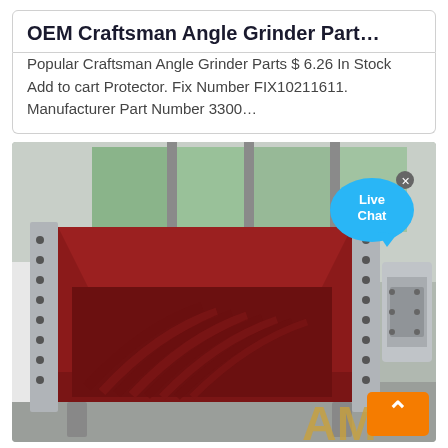OEM Craftsman Angle Grinder Part…
Popular Craftsman Angle Grinder Parts $ 6.26 In Stock Add to cart Protector. Fix Number FIX10211611. Manufacturer Part Number 3300…
[Figure (photo): Industrial vibrating screen or sieve machine with red painted steel frame and multiple curved metal liner plates stacked inside, mounted on a gray metal support structure, photographed in a factory setting. A 'Live Chat' bubble overlay appears in the top-right corner, and a back-to-top arrow button and partial 'AM' logo appear at the bottom-right.]